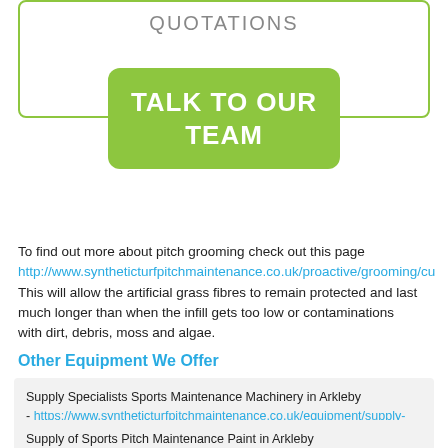QUOTATIONS
TALK TO OUR TEAM
To find out more about pitch grooming check out this page http://www.syntheticturfpitchmaintenance.co.uk/proactive/grooming/cu This will allow the artificial grass fibres to remain protected and last much longer than when the infill gets too low or contaminations with dirt, debris, moss and algae.
Other Equipment We Offer
Supply Specialists Sports Maintenance Machinery in Arkleby - https://www.syntheticturfpitchmaintenance.co.uk/equipment/supply-machinery/cumbria/arkleby/
Supply of Sports Pitch Maintenance Paint in Arkleby